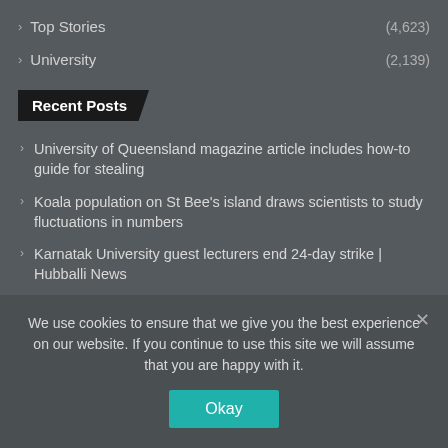Top Stories (4,623)
University (2,139)
Recent Posts
University of Queensland magazine article includes how-to guide for stealing
Koala population on St Bee's island draws scientists to study fluctuations in numbers
Karnatak University guest lecturers end 24-day strike | Hubballi News
Heritage trails bring to life NSW Mid North Coast history with quirky and colourful. but little-known tales
We use cookies to ensure that we give you the best experience on our website. If you continue to use this site we will assume that you are happy with it.